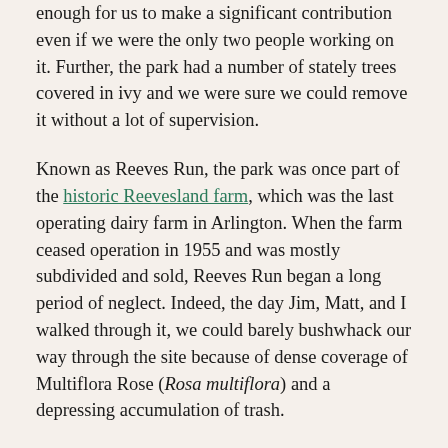enough for us to make a significant contribution even if we were the only two people working on it. Further, the park had a number of stately trees covered in ivy and we were sure we could remove it without a lot of supervision.
Known as Reeves Run, the park was once part of the historic Reevesland farm, which was the last operating dairy farm in Arlington. When the farm ceased operation in 1955 and was mostly subdivided and sold, Reeves Run began a long period of neglect. Indeed, the day Jim, Matt, and I walked through it, we could barely bushwhack our way through the site because of dense coverage of Multiflora Rose (Rosa multiflora) and a depressing accumulation of trash.
Jim saw the potential value of the site as a natural habitat. He noted that an Arlington County botany